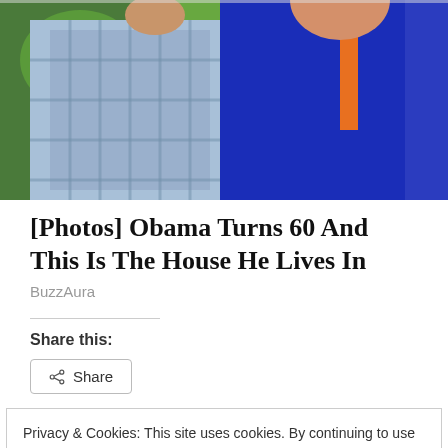[Figure (photo): Photo showing two people outdoors with green trees in the background. One person wearing a blue checkered shirt, another in a blue top with an orange strap.]
[Photos] Obama Turns 60 And This Is The House He Lives In
BuzzAura
Share this:
Privacy & Cookies: This site uses cookies. By continuing to use this website, you agree to their use.
To find out more, including how to control cookies, see here: Cookie Policy
Related